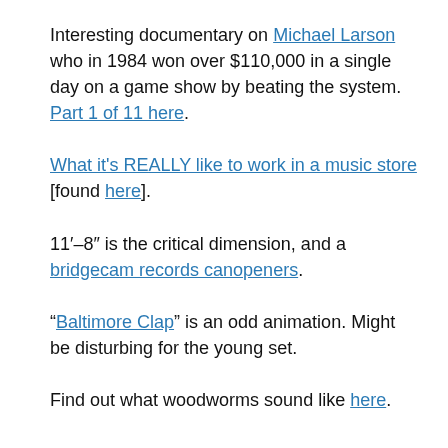Interesting documentary on Michael Larson who in 1984 won over $110,000 in a single day on a game show by beating the system. Part 1 of 11 here.
What it's REALLY like to work in a music store [found here].
11′–8″ is the critical dimension, and a bridgecam records canopeners.
“Baltimore Clap” is an odd animation. Might be disturbing for the young set.
Find out what woodworms sound like here.